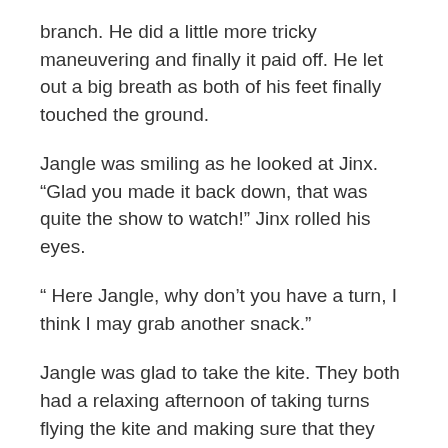branch.  He did a little more tricky maneuvering and finally it paid off.   He let out a big breath as both of his feet finally touched the ground.
Jangle was smiling as he looked at Jinx. “Glad you made it back down, that was quite the show to watch!” Jinx rolled his eyes.
“ Here Jangle, why don’t you have a turn, I think I may grab another snack.”
Jangle was glad to take the kite.  They both had a relaxing afternoon of taking turns flying the kite and making sure that they stayed away from the tree.
Back home that night Jangle picked his book back up to read.  He started laughing.